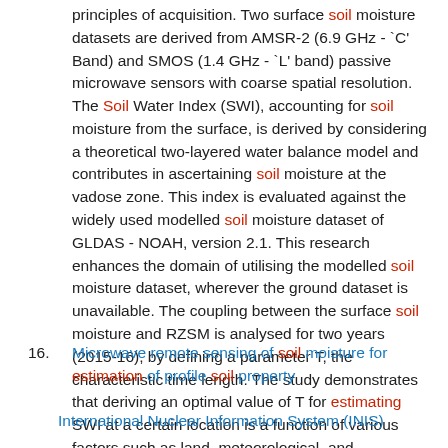principles of acquisition. Two surface soil moisture datasets are derived from AMSR-2 (6.9 GHz - `C' Band) and SMOS (1.4 GHz - `L' band) passive microwave sensors with coarse spatial resolution. The Soil Water Index (SWI), accounting for soil moisture from the surface, is derived by considering a theoretical two-layered water balance model and contributes in ascertaining soil moisture at the vadose zone. This index is evaluated against the widely used modelled soil moisture dataset of GLDAS - NOAH, version 2.1. This research enhances the domain of utilising the modelled soil moisture dataset, wherever the ground dataset is unavailable. The coupling between the surface soil moisture and RZSM is analysed for two years (2015-16), by defining a parameter T, the characteristic time length. The study demonstrates that deriving an optimal value of T for estimating SWI at a certain location is a function of various factors such as land, meteorological, and agricultural characteristics.
16. Microwave remote sensing of soil moisture for estimation of profile soil property
International Nuclear Information System (INIS)